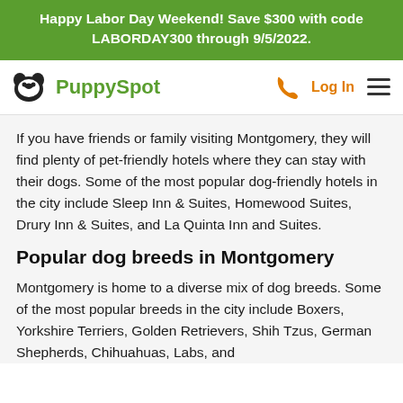Happy Labor Day Weekend! Save $300 with code LABORDAY300 through 9/5/2022.
[Figure (logo): PuppySpot logo with dog icon, navigation bar with phone icon, Log In link, and hamburger menu]
If you have friends or family visiting Montgomery, they will find plenty of pet-friendly hotels where they can stay with their dogs. Some of the most popular dog-friendly hotels in the city include Sleep Inn & Suites, Homewood Suites, Drury Inn & Suites, and La Quinta Inn and Suites.
Popular dog breeds in Montgomery
Montgomery is home to a diverse mix of dog breeds. Some of the most popular breeds in the city include Boxers, Yorkshire Terriers, Golden Retrievers, Shih Tzus, German Shepherds, Chihuahuas, Labs, and